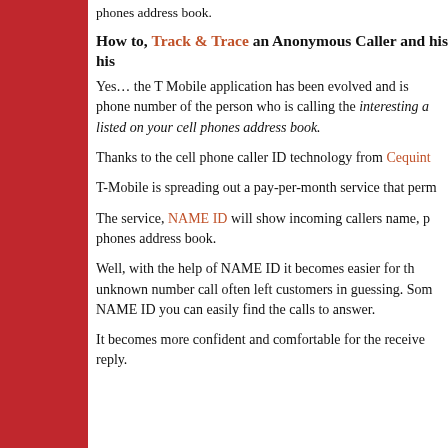phones address book.
How to, Track & Trace an Anonymous Caller and his his…
Yes… the T Mobile application has been evolved and is… phone number of the person who is calling the interesting … listed on your cell phones address book.
Thanks to the cell phone caller ID technology from Cequint…
T-Mobile is spreading out a pay-per-month service that perm…
The service, NAME ID will show incoming callers name, p… phones address book.
Well, with the help of NAME ID it becomes easier for th… unknown number call often left customers in guessing. Som… NAME ID you can easily find the calls to answer.
It becomes more confident and comfortable for the receive… reply.